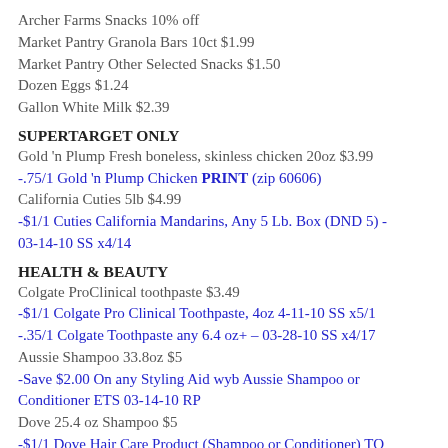Archer Farms Snacks 10% off
Market Pantry Granola Bars 10ct $1.99
Market Pantry Other Selected Snacks $1.50
Dozen Eggs $1.24
Gallon White Milk $2.39
SUPERTARGET ONLY
Gold 'n Plump Fresh boneless, skinless chicken 20oz $3.99
-.75/1 Gold 'n Plump Chicken PRINT (zip 60606)
California Cuties 5lb $4.99
-$1/1 Cuties California Mandarins, Any 5 Lb. Box (DND 5) - 03-14-10 SS x4/14
HEALTH & BEAUTY
Colgate ProClinical toothpaste $3.49
-$1/1 Colgate Pro Clinical Toothpaste, 4oz 4-11-10 SS x5/1
-.35/1 Colgate Toothpaste any 6.4 oz+ – 03-28-10 SS x4/17
Aussie Shampoo 33.8oz $5
-Save $2.00 On any Styling Aid wyb Aussie Shampoo or Conditioner ETS 03-14-10 RP
Dove 25.4 oz Shampoo $5
-$1/1 Dove Hair Care Product (Shampoo or Conditioner) TO